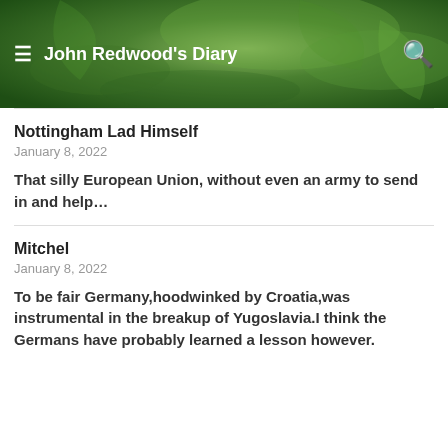John Redwood's Diary
Nottingham Lad Himself
January 8, 2022
That silly European Union, without even an army to send in and help…
Mitchel
January 8, 2022
To be fair Germany,hoodwinked by Croatia,was instrumental in the breakup of Yugoslavia.I think the Germans have probably learned a lesson however.